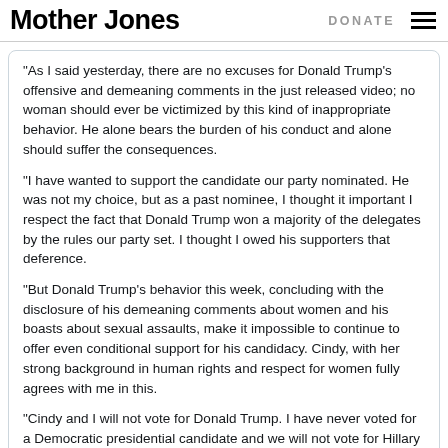Mother Jones  DONATE
"As I said yesterday, there are no excuses for Donald Trump's offensive and demeaning comments in the just released video; no woman should ever be victimized by this kind of inappropriate behavior. He alone bears the burden of his conduct and alone should suffer the consequences.

"I have wanted to support the candidate our party nominated. He was not my choice, but as a past nominee, I thought it important I respect the fact that Donald Trump won a majority of the delegates by the rules our party set. I thought I owed his supporters that deference.

"But Donald Trump's behavior this week, concluding with the disclosure of his demeaning comments about women and his boasts about sexual assaults, make it impossible to continue to offer even conditional support for his candidacy. Cindy, with her strong background in human rights and respect for women fully agrees with me in this.

"Cindy and I will not vote for Donald Trump. I have never voted for a Democratic presidential candidate and we will not vote for Hillary Clinton. We will write in the name of some good conservative Republican who is
8:59 PM · Oct 8, 2016
158  Reply  Copy link
Read 26 replies